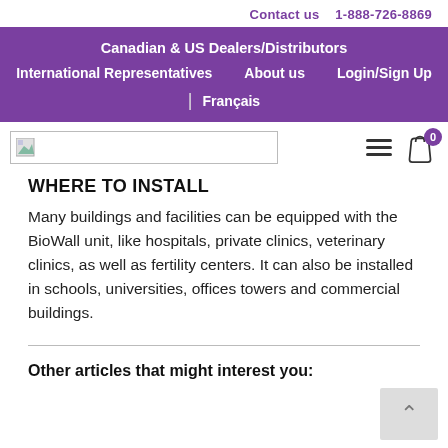Contact us  1-888-726-8869
Canadian & US Dealers/Distributors | International Representatives | About us | Login/Sign Up | Français
WHERE TO INSTALL
Many buildings and facilities can be equipped with the BioWall unit, like hospitals, private clinics, veterinary clinics, as well as fertility centers. It can also be installed in schools, universities, offices towers and commercial buildings.
Other articles that might interest you: